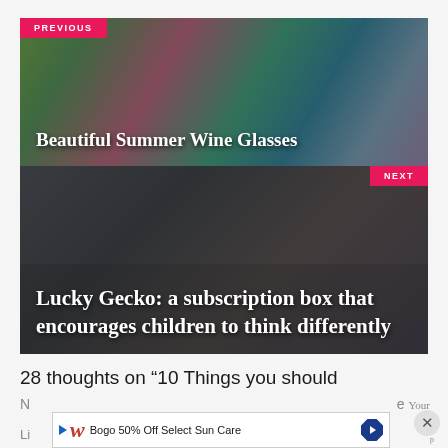[Figure (photo): PREVIOUS navigation block with colorful decorated wine glasses photo and pink PREVIOUS label]
Beautiful Summer Wine Glasses
[Figure (photo): NEXT navigation block with close-up photo of boy with toy and pink NEXT label]
Lucky Gecko: a subscription box that encourages children to think differently
28 thoughts on “10 Things you should
[Figure (infographic): Advertisement banner: Walgreens Bogo 50% Off Select Sun Care with blue navigation arrow icon and close X button]